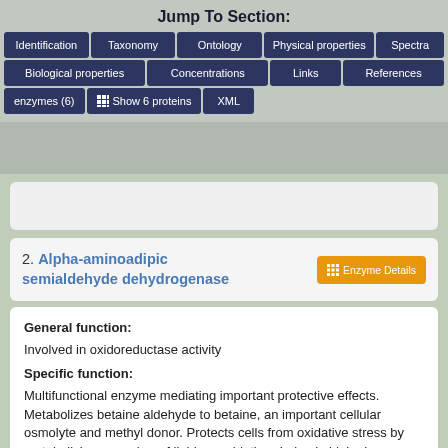Jump To Section:
Identification | Taxonomy | Ontology | Physical properties | Spectra
Biological properties | Concentrations | Links | References
enzymes (6) | Show 6 proteins | XML
2. Alpha-aminoadipic semialdehyde dehydrogenase
General function:
Involved in oxidoreductase activity
Specific function:
Multifunctional enzyme mediating important protective effects. Metabolizes betaine aldehyde to betaine, an important cellular osmolyte and methyl donor. Protects cells from oxidative stress by metabolizing a number of lipid peroxidation-derived aldehydes. Involved in lysine catabolism.